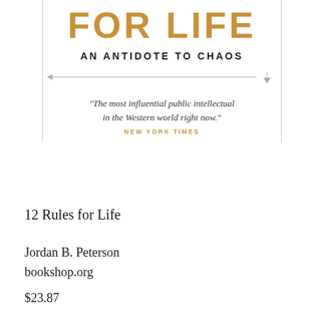FOR LIFE
AN ANTIDOTE TO CHAOS
"The most influential public intellectual in the Western world right now."
NEW YORK TIMES
12 Rules for Life
Jordan B. Peterson
bookshop.org
$23.87